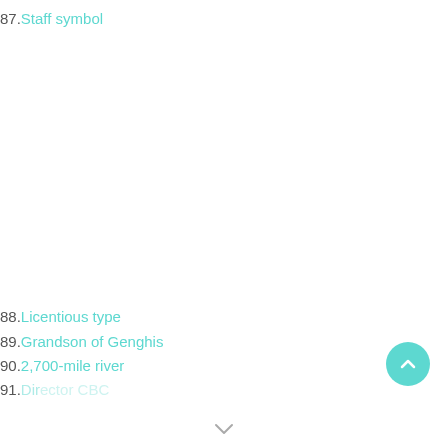87. Staff symbol
88. Licentious type
89. Grandson of Genghis
90. 2,700-mile river
91. [partially visible]